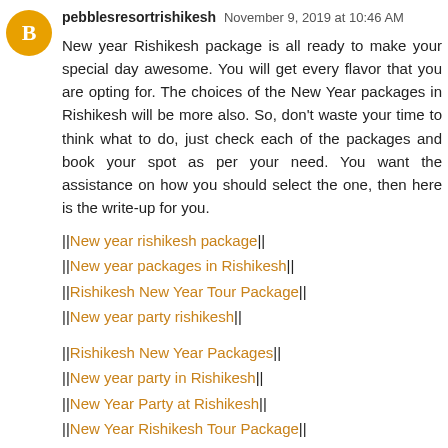pebblesresortrishikesh  November 9, 2019 at 10:46 AM
New year Rishikesh package is all ready to make your special day awesome. You will get every flavor that you are opting for. The choices of the New Year packages in Rishikesh will be more also. So, don't waste your time to think what to do, just check each of the packages and book your spot as per your need. You want the assistance on how you should select the one, then here is the write-up for you.
||New year rishikesh package||
||New year packages in Rishikesh||
||Rishikesh New Year Tour Package||
||New year party rishikesh||
||Rishikesh New Year Packages||
||New year party in Rishikesh||
||New Year Party at Rishikesh||
||New Year Rishikesh Tour Package||
Reply